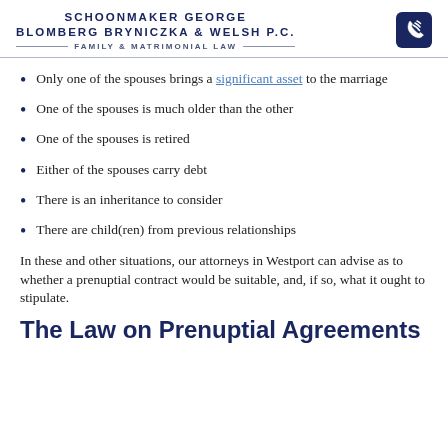SCHOONMAKER GEORGE BLOMBERG BRYNICZKA & WELSH P.C. — FAMILY & MATRIMONIAL LAW
Only one of the spouses brings a significant asset to the marriage
One of the spouses is much older than the other
One of the spouses is retired
Either of the spouses carry debt
There is an inheritance to consider
There are child(ren) from previous relationships
In these and other situations, our attorneys in Westport can advise as to whether a prenuptial contract would be suitable, and, if so, what it ought to stipulate.
The Law on Prenuptial Agreements